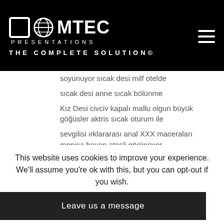[Figure (logo): Comtec Presentations logo with globe icon and tagline THE COMPLETE SOLUTION®]
soyunuyor sıcak desi milf otelde
sıcak desi anne sıcak bölünme
Kız Desi civciv kapalı mallu olgun büyük göğüsler aktris sıcak oturum ile
sevgilisi ırklararası anal XXX maceraları monica bayan ateşli görünüyor
katrina kaif gibi büyük göğüsler desi yenge xxx XXX erkek arkadaşıyla
köy porno XXX sıcak Kız hardcore en son dehati çift tango
This website uses cookies to improve your experience. We'll assume you're ok with this, but you can opt-out if you wish.
Leave us a message